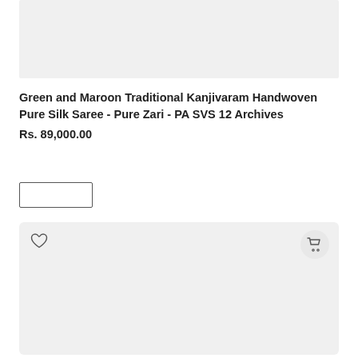[Figure (other): Gray placeholder image area at top of page]
Green and Maroon Traditional Kanjivaram Handwoven Pure Silk Saree - Pure Zari - PA SVS 12 Archives
Rs. 89,000.00
[Figure (other): Empty button/input placeholder rectangle with border]
[Figure (other): Product card area with heart/wishlist icon on top-left and shopping cart icon button on top-right, large gray placeholder image area]